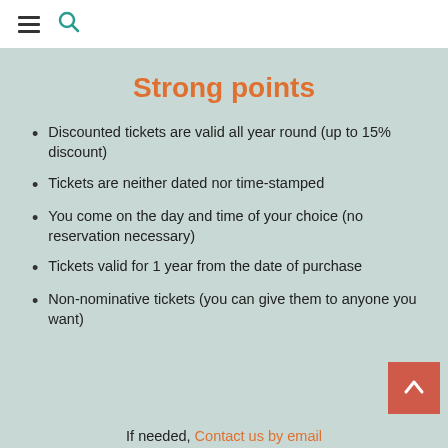≡ 🔍
Strong points
Discounted tickets are valid all year round (up to 15% discount)
Tickets are neither dated nor time-stamped
You come on the day and time of your choice (no reservation necessary)
Tickets valid for 1 year from the date of purchase
Non-nominative tickets (you can give them to anyone you want)
If needed, Contact us by email